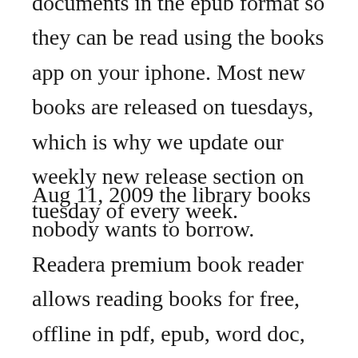documents in the epub format so they can be read using the books app on your iphone. Most new books are released on tuesdays, which is why we update our weekly new release section on tuesday of every week.
Aug 11, 2009 the library books nobody wants to borrow. Readera premium book reader allows reading books for free, offline in pdf, epub, word doc, docx, rtf, kindle mobi, azw3, fb2, djvu, txt, odt. Order of emma donoghue books emma donoghue is an irish author of literary fiction novels and stories. Pdf quidditch through the ages book hogwarts